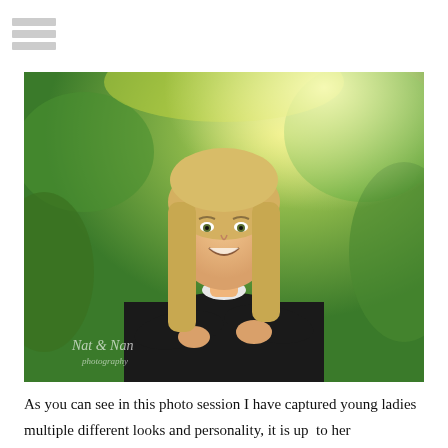[Figure (other): Menu/hamburger icon — three horizontal grey bars stacked vertically, top-left corner of page]
[Figure (photo): Professional outdoor portrait photo of a young blonde woman smiling with arms crossed, wearing a dark blazer with white collar, standing in front of lush green foliage with bright natural light. Watermark reads 'Nat & Nan photography' in lower left corner.]
As you can see in this photo session I have captured young ladies multiple different looks and personality, it is up  to her